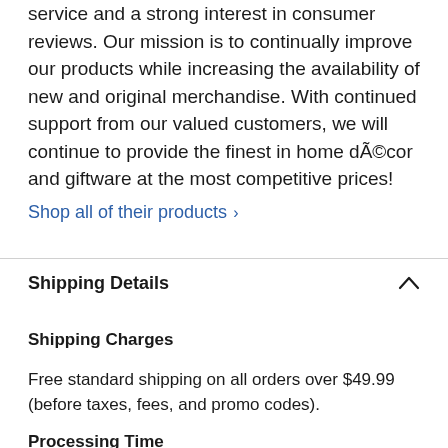service and a strong interest in consumer reviews. Our mission is to continually improve our products while increasing the availability of new and original merchandise. With continued support from our valued customers, we will continue to provide the finest in home décor and giftware at the most competitive prices!
Shop all of their products ›
Shipping Details
Shipping Charges
Free standard shipping on all orders over $49.99 (before taxes, fees, and promo codes).
Processing Time